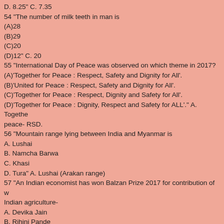D. 8.25" C. 7.35
54 "The number of milk teeth in man is
(A)28
(B)29
(C)20
(D)12" C. 20
55 "International Day of Peace was observed on which theme in 2017?
(A)'Together for Peace : Respect, Safety and Dignity for All'.
(B)'United for Peace : Respect, Safety and Dignity for All'.
(C)'Together for Peace : Respect, Dignity and Safety for All'.
(D)'Together for Peace : Dignity, Respect and Safety for ALL'." A. Together peace- RSD.
56 "Mountain range lying between India and Myanmar is
A. Lushai
B. Namcha Barwa
C. Khasi
D. Tura" A. Lushai (Arakan range)
57 "An Indian economist has won Balzan Prize 2017 for contribution of w Indian agriculture-
A. Devika Jain
B. Rihini Pande
C. Dipali Joshi
D. Bina Agarwal" D. Bina Agarwal
58 "Short-sight defect could be corrected by a